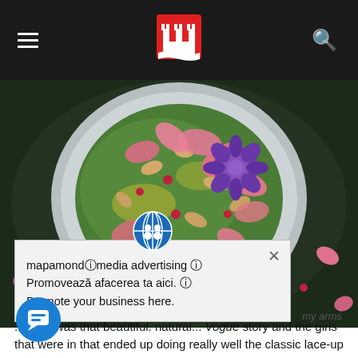Navigation bar with hamburger menu, castle logo, and search icon
[Figure (photo): Overhead food photography of a colorful dish in a white bowl — green sauce topped with pink rose petals, red pomegranate seeds, purple flowers, and sliced almonds, on a dark rustic background with scattered petals]
my arms
[Figure (other): Ad popup overlay with globe icon and close button. Text: mapamondⓘmedia advertising ⓘ Promovează afacerea ta aici. ⓘ Promote your business here.]
...There was that beautiful. Natural... Vogue story and the girls that were in that ended up doing really well the classic lace-up a true.
[Figure (other): Blue circular chat button with speech bubble icon]